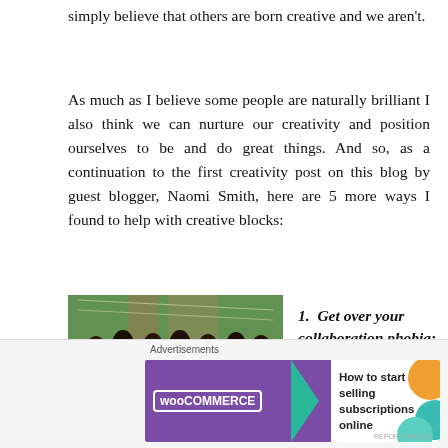simply believe that others are born creative and we aren't.
As much as I believe some people are naturally brilliant I also think we can nurture our creativity and position ourselves to be and do great things. And so, as a continuation to the first creativity post on this blog by guest blogger, Naomi Smith, here are 5 more ways I found to help with creative blocks:
[Figure (photo): Group photo of several young African women standing together outdoors, with green foliage in the background.]
1.  Get over your collaboration phobia:
[Figure (other): Close button (X in a circle)]
Advertisements
[Figure (other): WooCommerce advertisement banner: 'How to start selling subscriptions online']